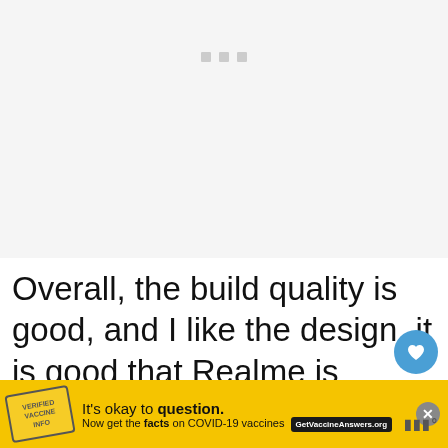[Figure (other): Blank image placeholder area with light gray background and three small gray loading indicator squares near the top center]
Overall, the build quality is good, and I like the design, it is good that Realme is experimenting with some different design ideas at this price point of the market.
[Figure (infographic): Yellow advertisement banner: It's okay to question. Now get the facts on COVID-19 vaccines. GetVaccineAnswers.org]